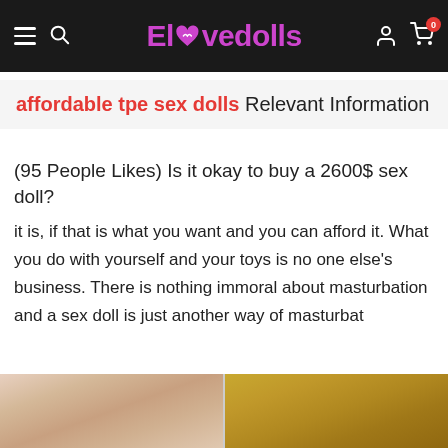Elovedolls — navigation bar with hamburger, search, logo, user, cart (0)
affordable tpe sex dolls Relevant Information
(95 People Likes) Is it okay to buy a 2600$ sex doll?
it is, if that is what you want and you can afford it. What you do with yourself and your toys is no one else's business. There is nothing immoral about masturbation and a sex doll is just another way of masturbat
[Figure (photo): Two product photos side by side: left shows a brunette doll face with pink flowers, right shows a blonde doll face in profile view.]